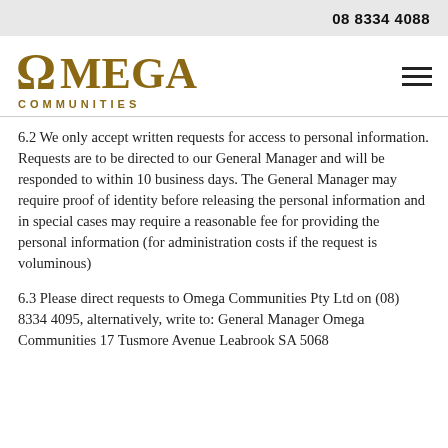08 8334 4088
[Figure (logo): Omega Communities logo with omega symbol and text]
6.2 We only accept written requests for access to personal information. Requests are to be directed to our General Manager and will be responded to within 10 business days. The General Manager may require proof of identity before releasing the personal information and in special cases may require a reasonable fee for providing the personal information (for administration costs if the request is voluminous)
6.3 Please direct requests to Omega Communities Pty Ltd on (08) 8334 4095, alternatively, write to: General Manager Omega Communities 17 Tusmore Avenue Leabrook SA 5068